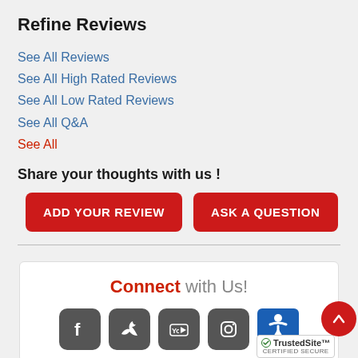Refine Reviews
See All Reviews
See All High Rated Reviews
See All Low Rated Reviews
See All Q&A
See All
Share your thoughts with us !
ADD YOUR REVIEW | ASK A QUESTION
[Figure (infographic): Connect with Us section with social media icons (Facebook, Twitter, YouTube, Instagram, Accessibility) and TrustedSite Certified Secure badge, plus a red scroll-up button]